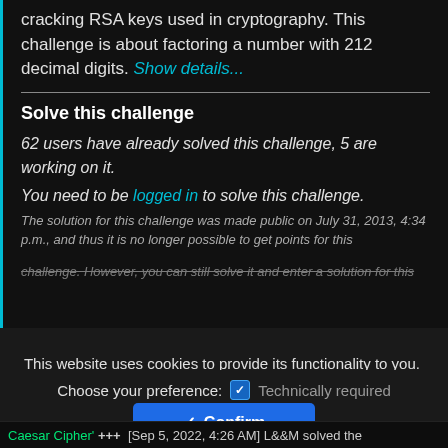cracking RSA keys used in cryptography. This challenge is about factoring a number with 212 decimal digits. Show details...
Solve this challenge
62 users have already solved this challenge, 5 are working on it.
You need to be logged in to solve this challenge.
The solution for this challenge was made public on July 31, 2013, 4:34 p.m., and thus it is no longer possible to get points for this challenge. However, you can still solve it and enter a solution for this
This website uses cookies to provide its functionality to you. Learn more.
Choose your preference: Technically required
Analytics
Confirm
Caesar Cipher' +++ [Sep 5, 2022, 4:26 AM] L&&M solved the